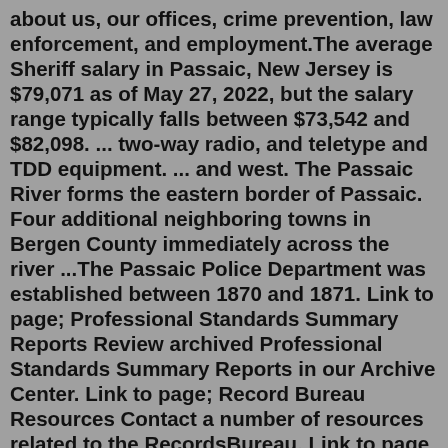about us, our offices, crime prevention, law enforcement, and employment.The average Sheriff salary in Passaic, New Jersey is $79,071 as of May 27, 2022, but the salary range typically falls between $73,542 and $82,098. ... two-way radio, and teletype and TDD equipment. ... and west. The Passaic River forms the eastern border of Passaic. Four additional neighboring towns in Bergen County immediately across the river ...The Passaic Police Department was established between 1870 and 1871. Link to page; Professional Standards Summary Reports Review archived Professional Standards Summary Reports in our Archive Center. Link to page; Record Bureau Resources Contact a number of resources related to the RecordsBureau. Link to page Kearny, NJ, Police Department providing top-notch law enforcement, public safety, and investigative expertise to Kearny and South Kearny, Hudson County, New Jersey. ... Hudson County to close one lane of Passaic Ave. near Stewart Ave. for 5 to 6 days. Adult Male Bicyclist Fatally Struck on U.S. Route 1 & 9 (Truck)Between